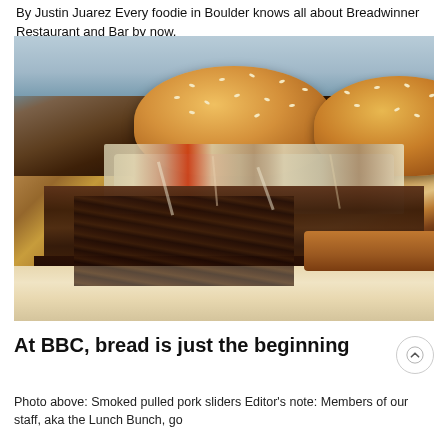By Justin Juarez Every foodie in Boulder knows all about Breadwinner Restaurant and Bar by now,
[Figure (photo): Close-up photo of smoked pulled pork sliders on sesame seed buns served on a white plate with french fries, featuring coleslaw topping on the meat]
At BBC, bread is just the beginning
Photo above: Smoked pulled pork sliders Editor's note: Members of our staff, aka the Lunch Bunch, go